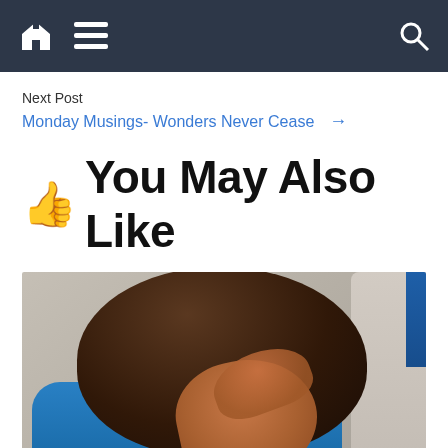Navigation bar with home, menu, and search icons
Next Post
Monday Musings- Wonders Never Cease →
👍 You May Also Like
[Figure (photo): A young child facing away from the camera, covering their face with their hand. The child has dark hair and is wearing a blue shirt. Another person is partially visible to the right.]